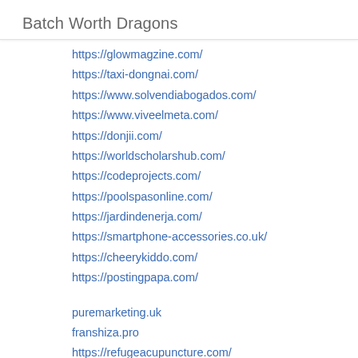Batch Worth Dragons
https://glowmagzine.com/
https://taxi-dongnai.com/
https://www.solvendiabogados.com/
https://www.viveelmeta.com/
https://donjii.com/
https://worldscholarshub.com/
https://codeprojects.com/
https://poolspasonline.com/
https://jardindenerja.com/
https://smartphone-accessories.co.uk/
https://cheerykiddo.com/
https://postingpapa.com/
puremarketing.uk
franshiza.pro
https://refugeacupuncture.com/
https://www.youtube.com/channel/UCTIeG6-